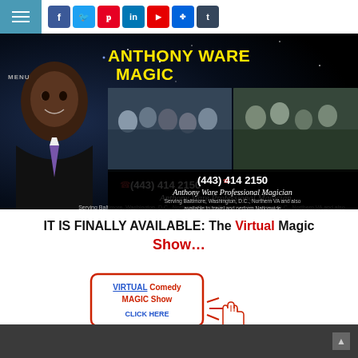MENU | Social icons: Facebook, Twitter, Pinterest, LinkedIn, YouTube, Flickr, Tumblr
[Figure (photo): Anthony Ware Magic hero banner. Shows Anthony Ware smiling in suit on left, event/performance photos in center and right, with contact info: (443) 414 2150, Anthony Ware Professional Magician, Serving Baltimore, Washington D.C., Northern VA and also available to travel and perform Nationwide]
IT IS FINALLY AVAILABLE: The Virtual Magic Show…
[Figure (infographic): VIRTUAL Comedy MAGIC Show CLICK HERE button with red border and clicking hand cursor graphic]